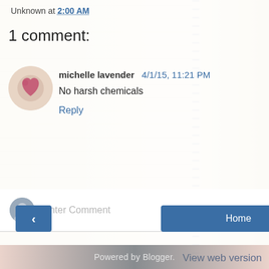Unknown at 2:00 AM
1 comment:
michelle lavender 4/1/15, 11:21 PM
No harsh chemicals
Reply
Enter Comment
Home
View web version
Powered by Blogger.